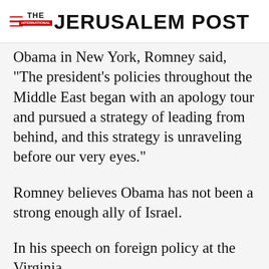THE JERUSALEM POST
Obama in New York, Romney said, "The president’s policies throughout the Middle East began with an apology tour and pursued a strategy of leading from behind, and this strategy is unraveling before our very eyes.”
Romney believes Obama has not been a strong enough ally of Israel.
In his speech on foreign policy at the Virginia
Advertisement